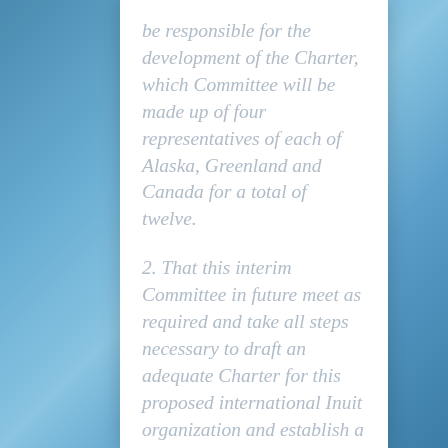be responsible for the development of the Charter, which Committee will be made up of four representatives of each of Alaska, Greenland and Canada for a total of twelve.
2. That this interim Committee in future meet as required and take all steps necessary to draft an adequate Charter for this proposed international Inuit organization and establish a fair and adequate